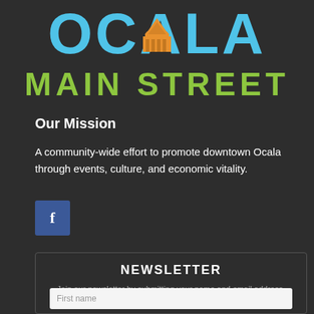[Figure (logo): Ocala Main Street logo with blue 'OCALA' text, green 'MAIN STREET' text, and orange building/dome illustration in center]
Our Mission
A community-wide effort to promote downtown Ocala through events, culture, and economic vitality.
[Figure (illustration): Facebook social media button - blue square with white 'f' letter]
NEWSLETTER
Join our newsletter by submitting your name and email address.
First name